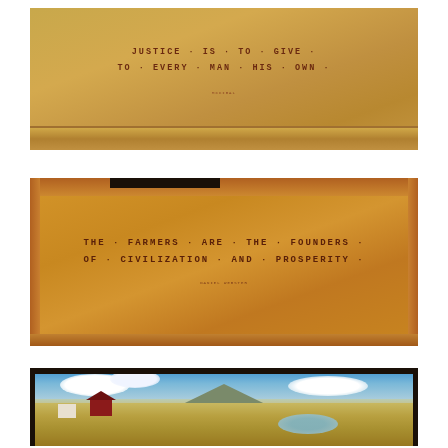[Figure (photo): Close-up photograph of a wooden panel or mural detail with the inscribed quote 'JUSTICE · IS · TO · GIVE · TO · EVERY · MAN · HIS · OWN ·' in dark red lettering on a warm tan/golden-brown background, with a small attribution below and a wooden shelf at the bottom.]
[Figure (photo): Photograph of a wide wooden panel or painted frieze with the inscription 'THE FARMERS · ARE · THE FOUNDERS · OF · CIVILIZATION · AND · PROSPERITY ·' in dark red lettering centered on a warm orange-tan background, with a small attribution below. A black rectangular element is visible at the top center.]
[Figure (photo): Photograph of the lower section of a painted mural depicting a rural agricultural landscape scene with a blue sky with clouds, a distant mountain, flat farmland fields, a red barn, a white farmhouse, haystacks, farm workers, grain silos, and a water feature or lake, all rendered in a folk-art style.]